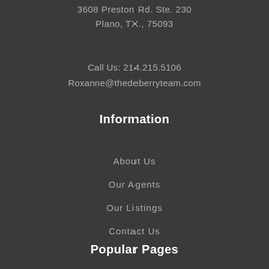3608 Preston Rd. Ste. 230
Plano, TX., 75093
Call Us: 214.215.5106
Roxanne@thedeberryteam.com
Information
About Us
Our Agents
Our Listings
Contact Us
Popular Pages